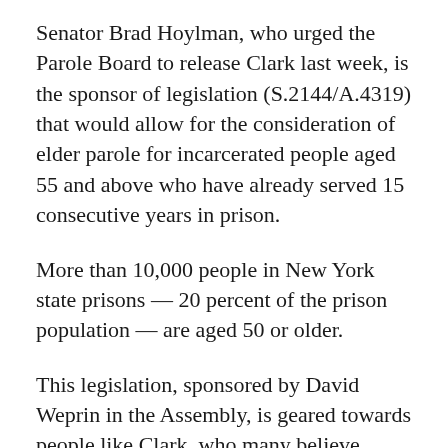Senator Brad Hoylman, who urged the Parole Board to release Clark last week, is the sponsor of legislation (S.2144/A.4319) that would allow for the consideration of elder parole for incarcerated people aged 55 and above who have already served 15 consecutive years in prison.
More than 10,000 people in New York state prisons — 20 percent of the prison population — are aged 50 or older.
This legislation, sponsored by David Weprin in the Assembly, is geared towards people like Clark, who many believe serves as a model of rehabilitation.
Clark earned her bachelor's and master's degrees while behind bars, and led programs to improve